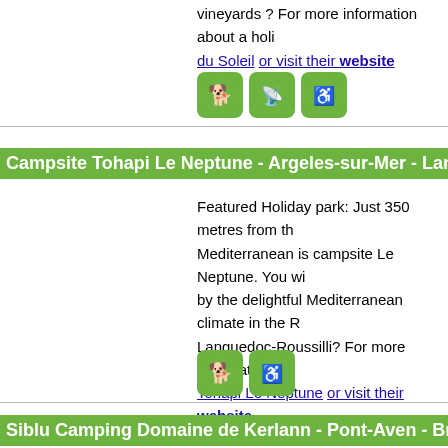vineyards ? For more information about a holi du Soleil or visit their website
[Figure (infographic): Three green icon buttons: dog-friendly, wifi/signal, and wheelchair accessible]
Campsite Tohapi Le Neptune - Argeles-sur-Mer - Languedoc
Featured Holiday park: Just 350 metres from the Mediterranean is campsite Le Neptune. You will be charmed by the delightful Mediterranean climate in the region of Languedoc-Roussilli? For more information about Tohapi Le Neptune or visit their website
[Figure (infographic): Two green icon buttons: dog-friendly and wheelchair accessible]
Siblu Camping Domaine de Kerlann - Pont-Aven - Brittany
Featured Holiday park: Siblu Camping Domaine de Kerlann is a wonderful family campsite, located in Pont-Aven, and the perfect place for campers looking for a mix of adventure. The swimm? For more information